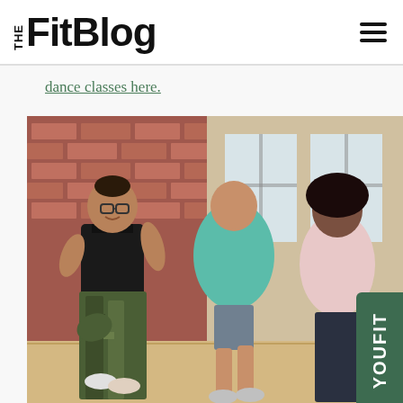THE FitBlog
dance classes here.
[Figure (photo): Three people dancing in a studio with brick walls and large windows. The person in front is a woman wearing glasses, a black sports bra, and camouflage leggings. A man in a teal shirt is in the center, and a woman in a pink tank top is on the right. A dark green vertical badge reading 'YOUFIT' is overlaid on the right side of the image.]